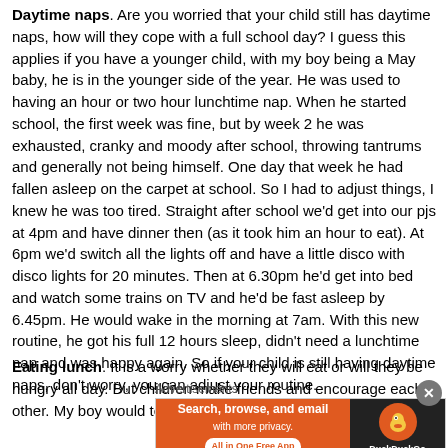Daytime naps. Are you worried that your child still has daytime naps, how will they cope with a full school day? I guess this applies if you have a younger child, with my boy being a May baby, he is in the younger side of the year. He was used to having an hour or two hour lunchtime nap. When he started school, the first week was fine, but by week 2 he was exhausted, cranky and moody after school, throwing tantrums and generally not being himself. One day that week he had fallen asleep on the carpet at school. So I had to adjust things, I knew he was too tired. Straight after school we'd get into our pjs at 4pm and have dinner then (as it took him an hour to eat). At 6pm we'd switch all the lights off and have a little disco with disco lights for 20 minutes. Then at 6.30pm he'd get into bed and watch some trains on TV and he'd be fast asleep by 6.45pm. He would wake in the morning at 7am. With this new routine, he got his full 12 hours sleep, didn't need a lunchtime nap and was happy again. So if your child is still having daytime naps, don't worry, you can adjust your routine.
Eating lunch. It is a worry whether they will eat or will they be hungry all day. But children make friends and encourage each other. My boy would tell...
Advertisements
[Figure (other): DuckDuckGo advertisement banner: 'Search, browse, and email with more privacy. All in One Free App' with DuckDuckGo logo on dark background]